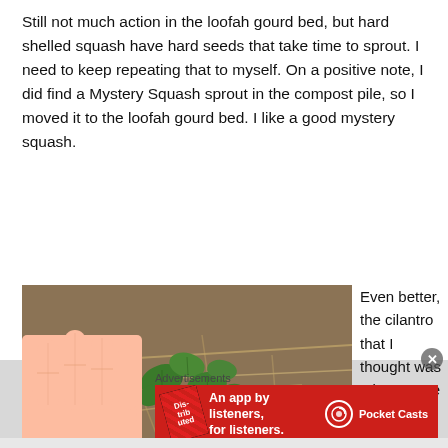Still not much action in the loofah gourd bed, but hard shelled squash have hard seeds that take time to sprout. I need to keep repeating that to myself. On a positive note, I did find a Mystery Squash sprout in the compost pile, so I moved it to the loofah gourd bed. I like a good mystery squash.
[Figure (photo): A hand reaching toward small green cilantro plants growing among dry straw/hay mulch on the ground.]
Even better, the cilantro that I thought was a lost cause last year evidently mad
Advertisements
[Figure (other): Pocket Casts advertisement banner: red background with text 'An app by listeners, for listeners.' and Pocket Casts logo with a stylized podcast book image.]